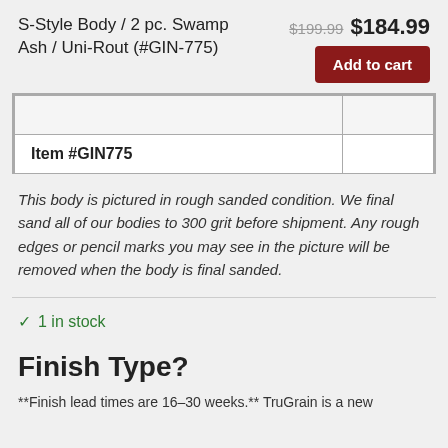S-Style Body / 2 pc. Swamp Ash / Uni-Rout (#GIN-775)
$199.99  $184.99
|  |  |
| Item #GIN775 |  |
This body is pictured in rough sanded condition. We final sand all of our bodies to 300 grit before shipment. Any rough edges or pencil marks you may see in the picture will be removed when the body is final sanded.
✓ 1 in stock
Finish Type?
**Finish lead times are 16–30 weeks.** TruGrain is a new